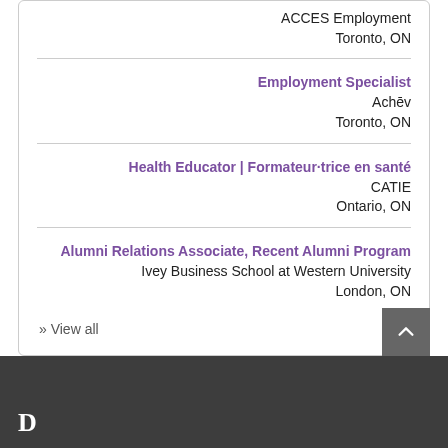ACCES Employment
Toronto, ON
Employment Specialist
Achēv
Toronto, ON
Health Educator | Formateur·trice en santé
CATIE
Ontario, ON
Alumni Relations Associate, Recent Alumni Program
Ivey Business School at Western University
London, ON
» View all
D...